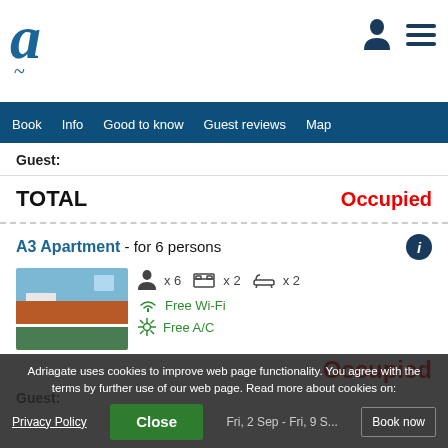Adriagate logo and navigation header
Guest:
TOTAL   Occupied
A3 Apartment - for 6 persons
[Figure (photo): Photo of A3 Apartment showing coastal view with rooftops and sea]
x 6   x 2   x 2
Free Wi-Fi
Free A/C
Occupied
Guest:
Adriagate uses cookies to improve web page functionality. You agree with the terms by further use of our web page. Read more about cookies on:
Fri, 2 Sep - Fri, 9 S...
Book now